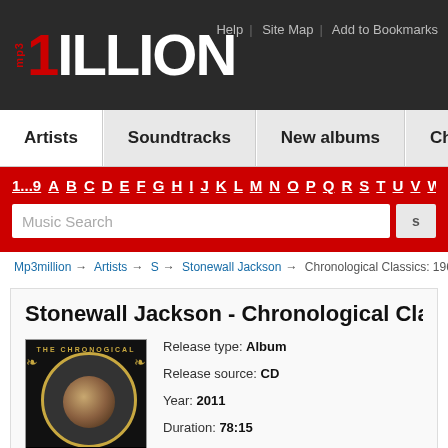mp3 1ILLION — Help | Site Map | Add to Bookmarks
Artists | Soundtracks | New albums | Charts | G...
1...9 A B C D E F G H I J K L M N O P Q R S T U V W
Music Search
Mp3million → Artists → S → Stonewall Jackson → Chronological Classics: 1963...
Stonewall Jackson - Chronological Clas...
[Figure (photo): Album cover for Stonewall Jackson Chronological Classics 1963-1966, showing artist portrait in circular frame with gold ornamental design on black background]
Release type: Album
Release source: CD
Year: 2011
Duration: 78:15